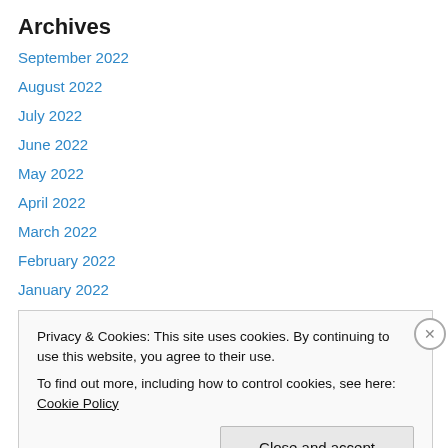Archives
September 2022
August 2022
July 2022
June 2022
May 2022
April 2022
March 2022
February 2022
January 2022
December 2021
November 2021
October 2021
Privacy & Cookies: This site uses cookies. By continuing to use this website, you agree to their use.
To find out more, including how to control cookies, see here: Cookie Policy
Close and accept